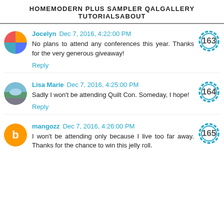HOME  MODERN PLUS SAMPLER QAL  GALLERY  TUTORIALS  ABOUT
Jocelyn Dec 7, 2016, 4:22:00 PM
No plans to attend any conferences this year. Thanks for the very generous giveaway!
Reply
Lisa Marie Dec 7, 2016, 4:25:00 PM
Sadly I won't be attending Quilt Con. Someday, I hope!
Reply
mangozz Dec 7, 2016, 4:26:00 PM
I won't be attending only because I live too far away. Thanks for the chance to win this jelly roll.